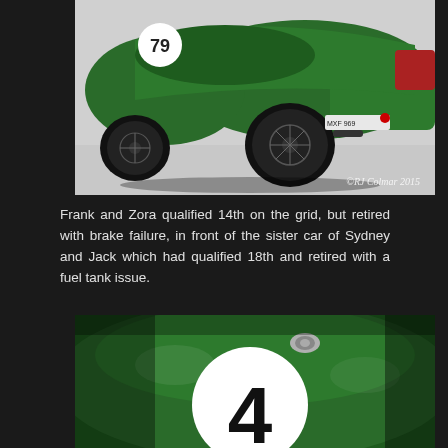[Figure (photo): A green vintage racing car (number 79) photographed from the rear three-quarter angle in a garage. The car has wire wheels and a license plate reading MXF 969. Watermark reads ©RJ Colmar 2015.]
Frank and Zora qualified 14th on the grid, but retired with brake failure, in front of the sister car of Sydney and Jack which had qualified 18th and retired with a fuel tank issue.
[Figure (photo): Close-up of the bonnet of a dark green vintage racing car showing a large white circle with the number 4 in black, and a fuel filler cap.]